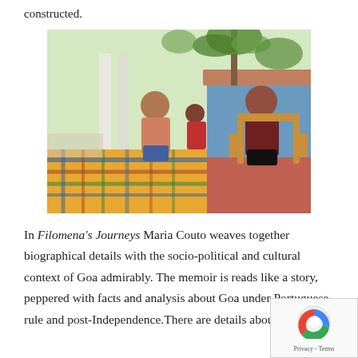constructed.
[Figure (photo): A woman and a child sit across from an elderly man in a rattan chair on a veranda or porch of a house, with a colorful plaid tablecloth on the table in the foreground and tropical trees/foliage visible in the background.]
In Filomena's Journeys Maria Couto weaves together biographical details with the socio-political and cultural context of Goa admirably. The memoir is reads like a story, peppered with facts and analysis about Goa under Portuguese rule and post-Independence.There are details about the